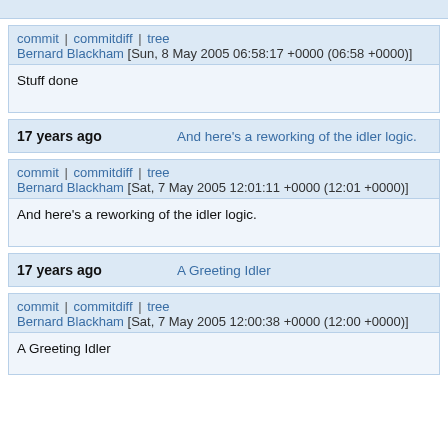commit | commitdiff | tree
Bernard Blackham [Sun, 8 May 2005 06:58:17 +0000 (06:58 +0000)]
Stuff done
17 years ago   And here's a reworking of the idler logic.
commit | commitdiff | tree
Bernard Blackham [Sat, 7 May 2005 12:01:11 +0000 (12:01 +0000)]
And here's a reworking of the idler logic.
17 years ago   A Greeting Idler
commit | commitdiff | tree
Bernard Blackham [Sat, 7 May 2005 12:00:38 +0000 (12:00 +0000)]
A Greeting Idler